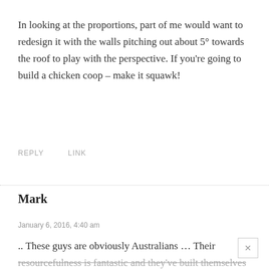In looking at the proportions, part of me would want to redesign it with the walls pitching out about 5° towards the roof to play with the perspective. If you're going to build a chicken coop – make it squawk!
REPLY   LINK
Mark
January 6, 2016, 4:40 am
.. These guys are obviously Australians … Their resourcefulness is fantastic and they've built themselves a pretty cool shack .. What part of Australia are they